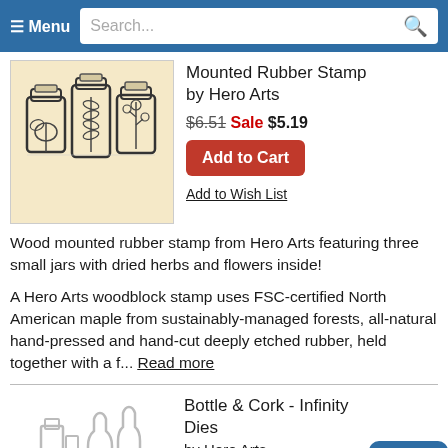≡ Menu  Search...
[Figure (photo): Three glass jars with botanical/floral illustrations inside, rubber stamp artwork on light wood background]
Mounted Rubber Stamp by Hero Arts
$6.51 Sale $5.19
Add to Cart
Add to Wish List
Wood mounted rubber stamp from Hero Arts featuring three small jars with dried herbs and flowers inside!
A Hero Arts woodblock stamp uses FSC-certified North American maple from sustainably-managed forests, all-natural hand-pressed and hand-cut deeply etched rubber, held together with a f... Read more
[Figure (photo): Outline illustration of bottles and cork – Infinity Dies product image, grey line art on white background]
Bottle & Cork - Infinity Dies by Hero Arts